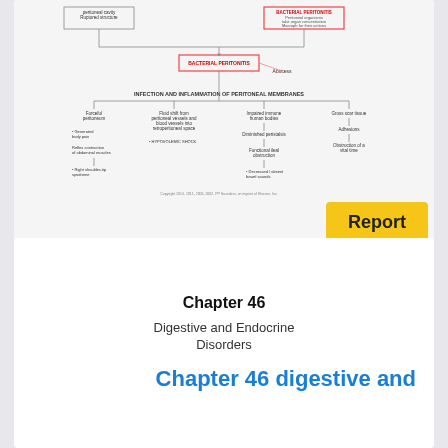[Figure (flowchart): Flowchart showing development of peritonitis: infection and inflammation of peritoneal membranes, causes including bacterial peritonitis, abscess, fluid shifts, impaired immune responses, gross scar tissue/adhesions; effects including generalized peritoneal pain, reflex contraction of abdominal muscles, hypovolemic shock, right shoulder-tip syndrome, diminished intestinal peristalsis, functional ileal obstruction, decreased/absent bowel sounds, obstruction of a vital structure.]
Copyright © 2014, 2011, 2006 by Saunders, an imprint of Elsevier, Inc.
173
Development of Peritonitis • Copyright © 2014, 2011, 2006 by Saunders, an imprint of Elsevier, Inc. 173
Chapter 46
Digestive and Endocrine Disorders
Chapter 46 digestive and